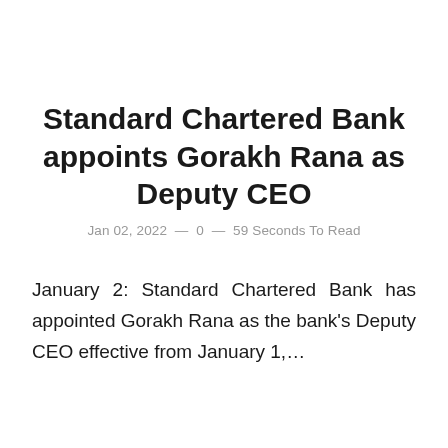Standard Chartered Bank appoints Gorakh Rana as Deputy CEO
Jan 02, 2022  —  0  —  59 Seconds To Read
January 2: Standard Chartered Bank has appointed Gorakh Rana as the bank's Deputy CEO effective from January 1,…